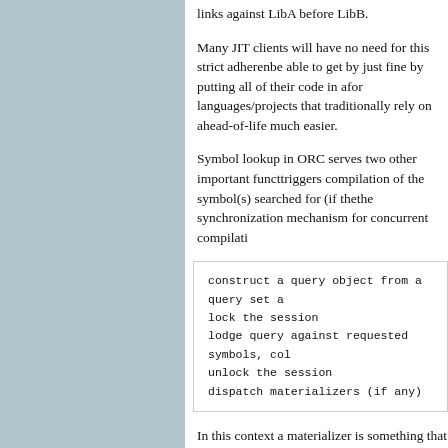links against LibA before LibB.
Many JIT clients will have no need for this strict adherence be able to get by just fine by putting all of their code in a for languages/projects that traditionally rely on ahead-of- life much easier.
Symbol lookup in ORC serves two other important functions triggers compilation of the symbol(s) searched for (if the the synchronization mechanism for concurrent compilation
construct a query object from a query set a
lock the session
lodge query against requested symbols, col
unlock the session
dispatch materializers (if any)
In this context a materializer is something that provides materializers are just wrappers for compilers, but they m representation backing the definitions is an object file), memory (for example, if the definitions are stubs). Mater linking, splatting bits, registering with runtimes, etc.) that to call or access.
As each materializer completes its work it notifies the JIT